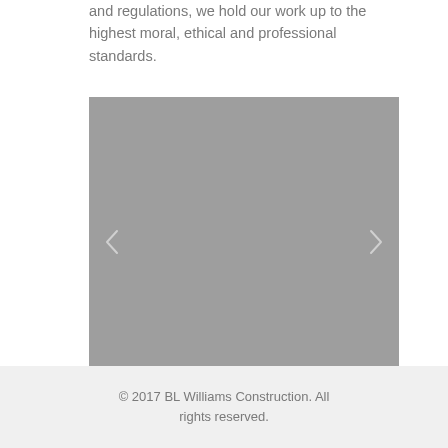and regulations, we hold our work up to the highest moral, ethical and professional standards.
[Figure (photo): A gray placeholder image with left and right navigation arrows on either side, indicating an image carousel or slideshow.]
© 2017 BL Williams Construction. All rights reserved.